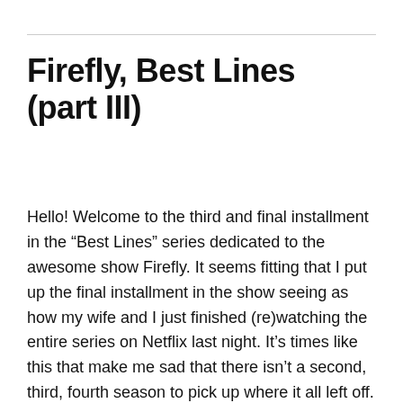Firefly, Best Lines (part III)
Hello! Welcome to the third and final installment in the “Best Lines” series dedicated to the awesome show Firefly. It seems fitting that I put up the final installment in the show seeing as how my wife and I just finished (re)watching the entire series on Netflix last night. It’s times like this that make me sad that there isn’t a second, third, fourth season to pick up where it all left off. Sad and very, VERY angry! DAMN YOU FOX! Anyhoo, enjoy the list and stay tuned for a follow-up with the best lines from